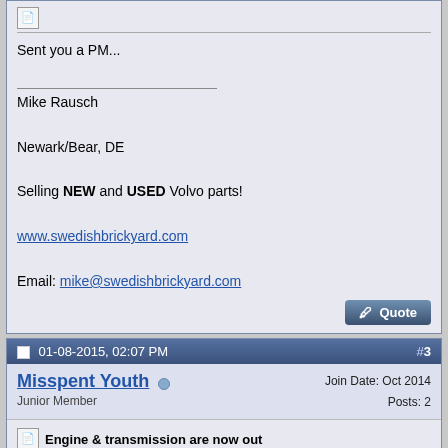Sent you a PM...
Mike Rausch
Newark/Bear, DE
Selling NEW and USED Volvo parts!
www.swedishbrickyard.com
Email: mike@swedishbrickyard.com
01-08-2015, 02:07 PM   #3
Misspent Youth
Junior Member
Join Date: Oct 2014
Posts: 2
Engine & transmission are now out
Bump since the motor & transmission are now out. d24, m46

Would prefer to sell all together but will consider parting it out.

I am certain there will be other ancillary items available as